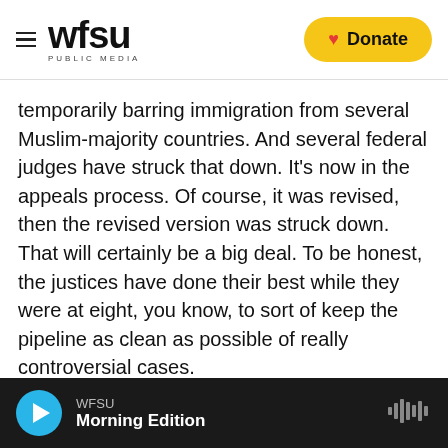WFSU PUBLIC MEDIA — Donate
temporarily barring immigration from several Muslim-majority countries. And several federal judges have struck that down. It's now in the appeals process. Of course, it was revised, then the revised version was struck down. That will certainly be a big deal. To be honest, the justices have done their best while they were at eight, you know, to sort of keep the pipeline as clean as possible of really controversial cases.
So I don't think this is a term with the kind of big blockbusters, like same-sex marriage or Obamacare, that we have seen in recent years. But,
WFSU — Morning Edition